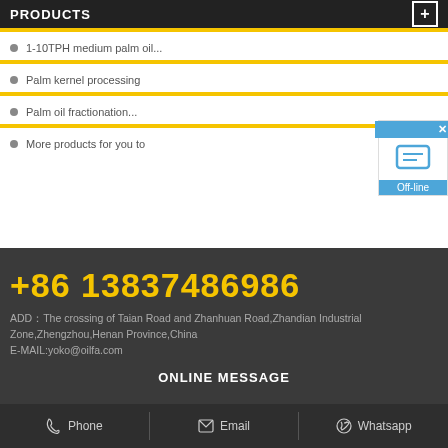PRODUCTS
1-10TPH medium palm oil...
Palm kernel processing
Palm oil fractionation...
More products for you to
+86 13837486986
ADD：The crossing of Taian Road and Zhanhuan Road,Zhandian Industrial Zone,Zhengzhou,Henan Province,China
E-MAIL:yoko@oilfa.com
ONLINE MESSAGE
Phone  Email  Whatsapp